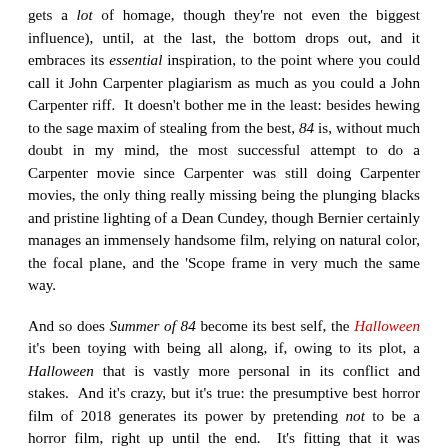gets a lot of homage, though they're not even the biggest influence), until, at the last, the bottom drops out, and it embraces its essential inspiration, to the point where you could call it John Carpenter plagiarism as much as you could a John Carpenter riff.  It doesn't bother me in the least: besides hewing to the sage maxim of stealing from the best, 84 is, without much doubt in my mind, the most successful attempt to do a Carpenter movie since Carpenter was still doing Carpenter movies, the only thing really missing being the plunging blacks and pristine lighting of a Dean Cundey, though Bernier certainly manages an immensely handsome film, relying on natural color, the focal plane, and the 'Scope frame in very much the same way.
And so does Summer of 84 become its best self, the Halloween it's been toying with being all along, if, owing to its plot, a Halloween that is vastly more personal in its conflict and stakes.  And it's crazy, but it's true: the presumptive best horror film of 2018 generates its power by pretending not to be a horror film, right up until the end.  It's fitting that it was released more-or-less contemporaneously with the elegiac new album from retrowave masters The